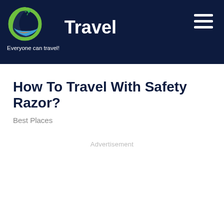Travel — Everyone can travel!
How To Travel With Safety Razor?
Best Places
Advertisement